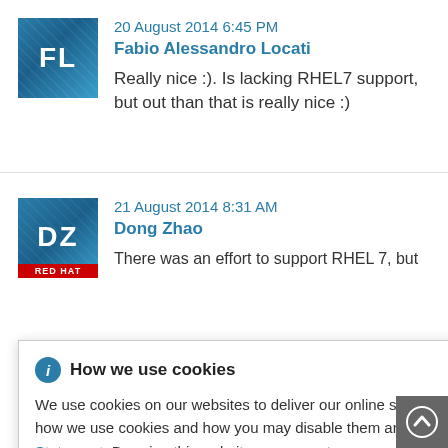20 August 2014 6:45 PM
Fabio Alessandro Locati
Really nice :). Is lacking RHEL7 support, but out than that is really nice :)
21 August 2014 8:31 AM
Dong Zhao
There was an effort to support RHEL 7, but
[Figure (screenshot): Cookie consent popup overlay with 'How we use cookies' title, info icon, close X button, text about cookie usage and Privacy Statement link, covering part of the page]
How we use cookies
We use cookies on our websites to deliver our online services. Details about how we use cookies and how you may disable them are set out in our Privacy Statement. By using this website you agree to our use of cookies.